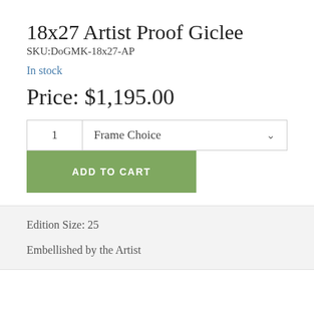18x27 Artist Proof Giclee
SKU:DoGMK-18x27-AP
In stock
Price: $1,195.00
1  Frame Choice  ADD TO CART
Edition Size: 25
Embellished by the Artist